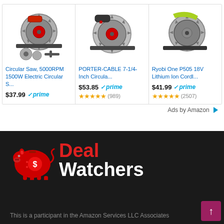[Figure (screenshot): Three Amazon product cards for circular saws with prices, Prime badges, and star ratings]
Ads by Amazon
[Figure (logo): DealWatchers logo with red piggy bank icon and Deal Watchers text]
This is a participant in the Amazon Services LLC Associates